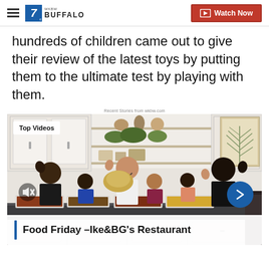7 WKBW BUFFALO | Watch Now
hundreds of children came out to give their review of the latest toys by putting them to the ultimate test by playing with them.
Recent Stories from wkbw.com
[Figure (screenshot): Video thumbnail showing a group of people including children waving at a kitchen counter with food trays, overlaid with 'Top Videos' badge and navigation arrow. Caption bar reads: Food Friday –Ike&BG's Restaurant]
Food Friday –Ike&BG's Restaurant